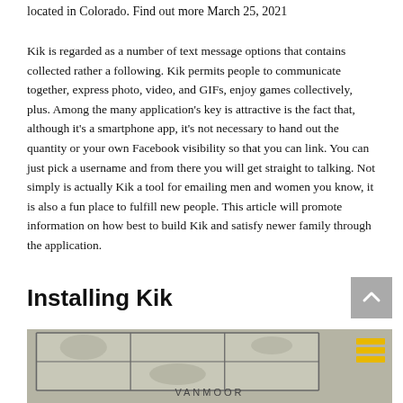located in Colorado. Find out more March 25, 2021
Kik is regarded as a number of text message options that contains collected rather a following. Kik permits people to communicate together, express photo, video, and GIFs, enjoy games collectively, plus. Among the many application’s key is attractive is the fact that, although it’s a smartphone app, it’s not necessary to hand out the quantity or your own Facebook visibility so that you can link. You can just pick a username and from there you will get straight to talking. Not simply is actually Kik a tool for emailing men and women you know, it is also a fun place to fulfill new people. This article will promote information on how best to build Kik and satisfy newer family through the application.
Installing Kik
[Figure (photo): Storefront with grid window panes and text reading VANMOOR, with a yellow stacked-lines icon in the upper right corner]